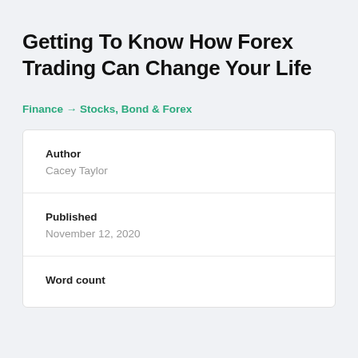Getting To Know How Forex Trading Can Change Your Life
Finance → Stocks, Bond & Forex
| Author | Cacey Taylor |
| Published | November 12, 2020 |
| Word count |  |